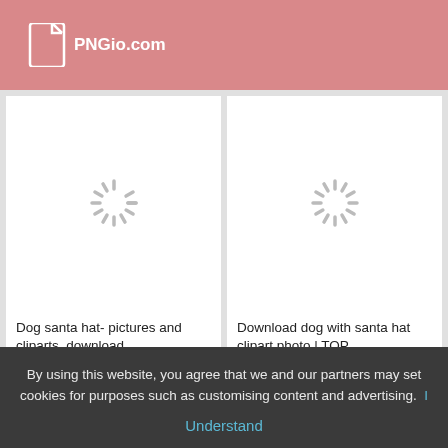PNGio.com
[Figure (screenshot): Loading spinner placeholder for dog santa hat image card 1]
Dog santa hat- pictures and cliparts, download .
855  450
[Figure (screenshot): Loading spinner placeholder for dog with santa hat image card 2]
Download dog with santa hat clipart photo | TOP
912  506
By using this website, you agree that we and our partners may set cookies for purposes such as customising content and advertising.  I
Understand